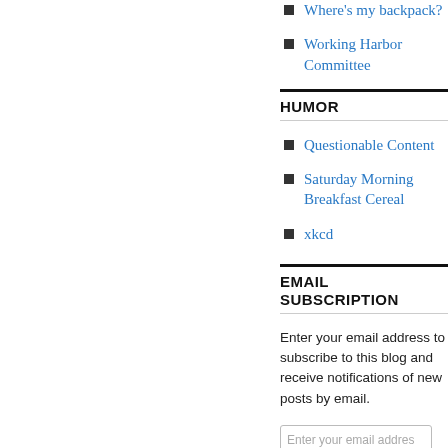Where's my backpack?
Working Harbor Committee
HUMOR
Questionable Content
Saturday Morning Breakfast Cereal
xkcd
EMAIL SUBSCRIPTION
Enter your email address to subscribe to this blog and receive notifications of new posts by email.
Enter your email addres
Sign me up!